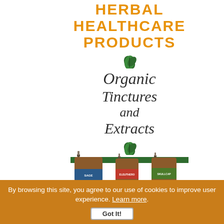HERBAL HEALTHCARE PRODUCTS
Organic Tinctures and Extracts
[Figure (illustration): Three amber dropper bottles with colored labels (blue, orange/red, green) representing herbal tincture products, with a green horizontal bar above them]
By browsing this site, you agree to our use of cookies to improve user experience. Learn more.
Got It!